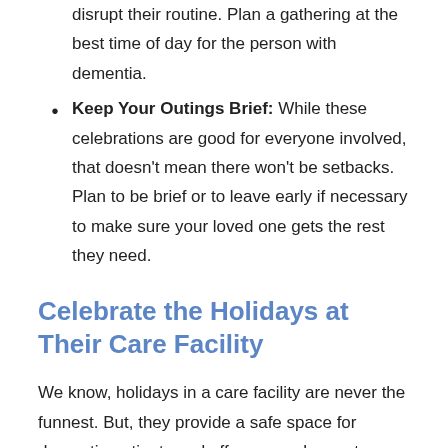disrupt their routine. Plan a gathering at the best time of day for the person with dementia.
Keep Your Outings Brief: While these celebrations are good for everyone involved, that doesn't mean there won't be setbacks. Plan to be brief or to leave early if necessary to make sure your loved one gets the rest they need.
Celebrate the Holidays at Their Care Facility
We know, holidays in a care facility are never the funnest. But, they provide a safe space for dementia patients and offer you a chance to engage with them during this special time of year. Here are some tips to celebrating in these environments: